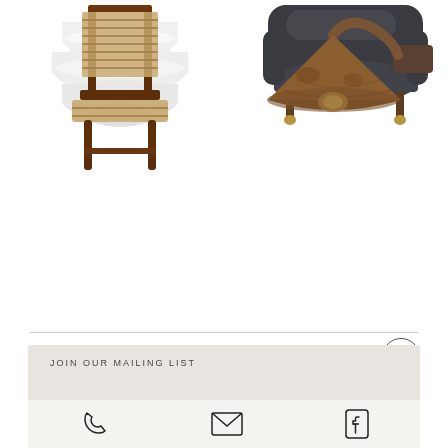[Figure (photo): White frosted glass tiered flush mount ceiling light fixture on white background]
[Figure (photo): Dark charcoal gray upholstered armchair with brass/gold leg tips on white background]
[Figure (photo): Wooden bar stool with woven rush/rattan seat and back, dark wood frame on white background]
[Figure (photo): Rustic bronze/copper gooseneck barn wall sconce light fixture on white background]
JOIN OUR MAILING LIST
[Figure (infographic): Phone icon, email envelope icon, and Facebook icon in a footer icon row]